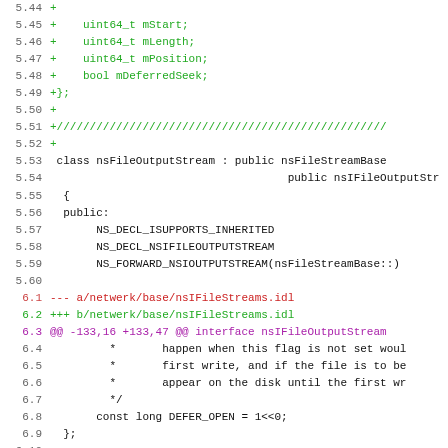Code diff showing file changes in nsFileOutputStream and nsIFileStreams.idl
[Figure (screenshot): Source code diff view showing C++ and IDL file changes with line numbers, green added lines, red removed lines, and purple diff header lines]